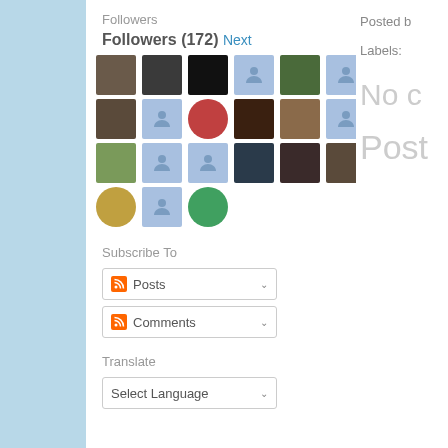Followers
Followers (172) Next
[Figure (other): Grid of 21 follower avatar thumbnails arranged in 4 rows. Some are real photos; others are blue placeholder silhouettes.]
Subscribe To
Posts
Comments
Translate
Select Language
Posted b
Labels:
No c
Post